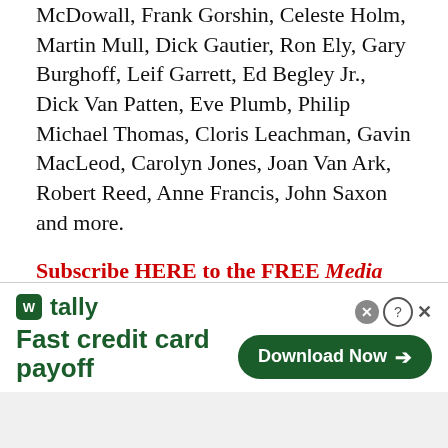McDowall, Frank Gorshin, Celeste Holm, Martin Mull, Dick Gautier, Ron Ely, Gary Burghoff, Leif Garrett, Ed Begley Jr., Dick Van Patten, Eve Plumb, Philip Michael Thomas, Cloris Leachman, Gavin MacLeod, Carolyn Jones, Joan Van Ark, Robert Reed, Anne Francis, John Saxon and more.
Subscribe HERE to the FREE Media Play News Daily Newsletter!
Extras include audio commentary on the pilot movie by Carter and executive producer Douglas S. Cramer; commentary by Carter on episode "My Teenage Idol is Missing"; and the featurettes "Beauty, Brawn and Bulletproof Bracelets: A Wonder Woman Retrospective," "Revolutionizing a
[Figure (other): Tally advertisement banner: logo with green square icon and 'tally' brand name, tagline 'Fast credit card payoff', and a dark green 'Download Now' button with arrow on the right. A close button (X) and help (?) button appear in upper right.]